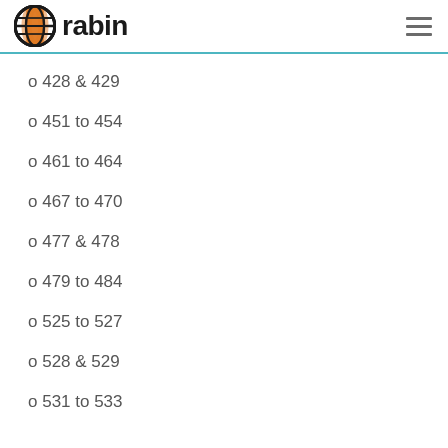rabin
o 428 & 429
o 451 to 454
o 461 to 464
o 467 to 470
o 477 & 478
o 479 to 484
o 525 to 527
o 528 & 529
o 531 to 533